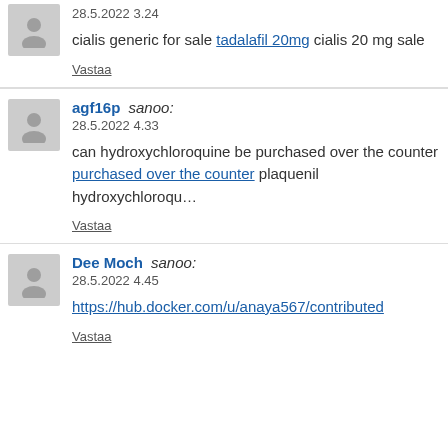28.5.2022 3.24
cialis generic for sale tadalafil 20mg cialis 20 mg sale
Vastaa
agf16p sanoo:
28.5.2022 4.33
can hydroxychloroquine be purchased over the counter purchased over the counter plaquenil hydroxychloroqu...
Vastaa
Dee Moch sanoo:
28.5.2022 4.45
https://hub.docker.com/u/anaya567/contributed
Vastaa